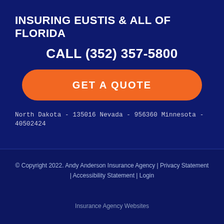INSURING EUSTIS & ALL OF FLORIDA
CALL (352) 357-5800
[Figure (other): Orange rounded rectangle button with white bold text 'GET A QUOTE']
North Dakota - 135016 Nevada - 956360 Minnesota - 40502424
© Copyright 2022. Andy Anderson Insurance Agency | Privacy Statement | Accessibility Statement | Login
Insurance Agency Websites